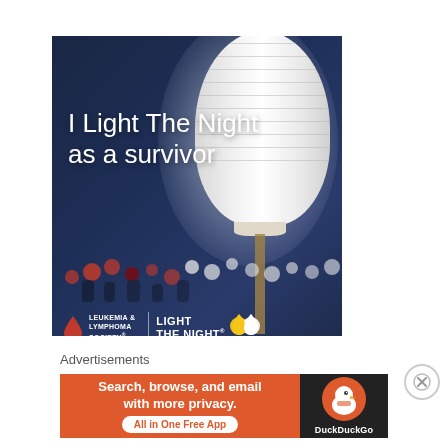[Figure (photo): Leukemia & Lymphoma Society 'Light The Night' advertisement. Dark navy blue background with a large glowing white paper lantern in center-right. Crowd of people holding lanterns in background. Text reads 'I Light The Night as a survivor'. LLS and Light The Night logos at bottom.]
Advertisements
[Figure (photo): DuckDuckGo advertisement banner. Orange left section with text 'Search, browse, and email with more privacy. All in One Free App' button. Dark right section with DuckDuckGo duck logo and 'DuckDuckGo' name.]